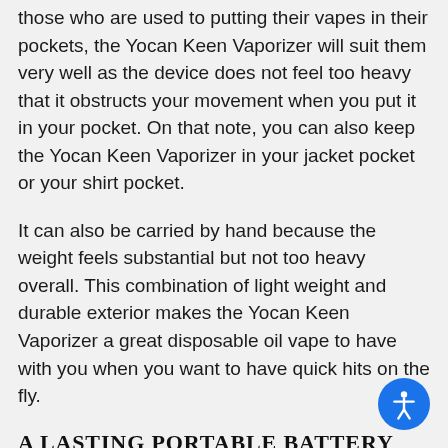those who are used to putting their vapes in their pockets, the Yocan Keen Vaporizer will suit them very well as the device does not feel too heavy that it obstructs your movement when you put it in your pocket. On that note, you can also keep the Yocan Keen Vaporizer in your jacket pocket or your shirt pocket.
It can also be carried by hand because the weight feels substantial but not too heavy overall. This combination of light weight and durable exterior makes the Yocan Keen Vaporizer a great disposable oil vape to have with you when you want to have quick hits on the fly.
A LASTING PORTABLE BATTERY
Despite being a small, compact, and disposable device, Yocan still made sure that its owners will get the right amount of power and the lasting